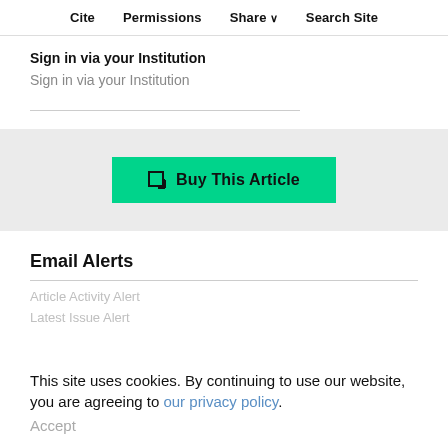Cite   Permissions   Share   Search Site
Sign in via your Institution
Sign in via your Institution
[Figure (other): Buy This Article button in green]
Email Alerts
Article Activity Alert
Latest Issue Alert
This site uses cookies. By continuing to use our website, you are agreeing to our privacy policy. Accept